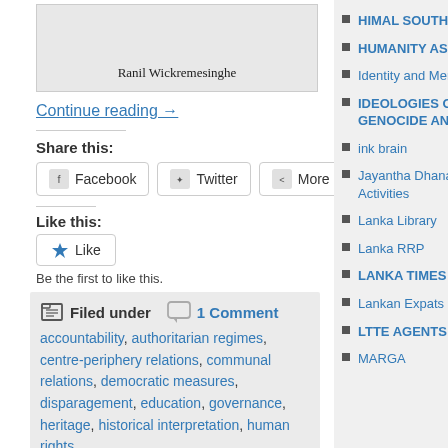[Figure (photo): Image box with caption 'Ranil Wickremesinghe']
Continue reading →
Share this:
Facebook  Twitter  More
Like this:
Like
Be the first to like this.
Filed under  1 Comment
accountability, authoritarian regimes, centre-periphery relations, communal relations, democratic measures, disparagement, education, governance, heritage, historical interpretation, human rights,
HIMAL SOUTH ASIA
HUMANITY ASHORE
Identity and Memory
IDEOLOGIES OF WAR, GENOCIDE AND TERROR
ink brain
Jayantha Dhanapala Writings & Activities
Lanka Library
Lanka RRP
LANKA TIMES
Lankan Expats
LTTE AGENTS
MARGA